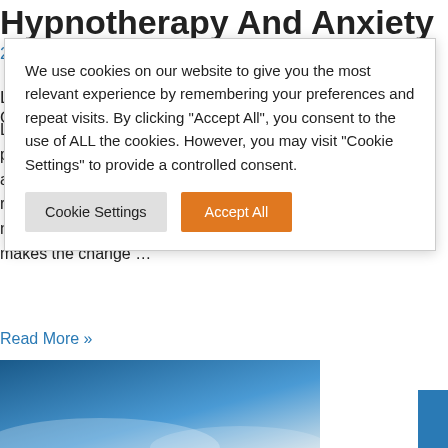Hypnotherapy And Anxiety
20 May 2022
Lockdown Bought So Many Old Fears To The Front Of Our Minds
Lockdown was a difficult time for so many people: This is a true story of a client who's anxiety was beginning to go through the roof. It's worth pointing out that although my name was mentioned, it's the process that makes the change …
Read More »
[Figure (photo): Blue sky with snow-capped mountains or clouds at the bottom of the page]
We use cookies on our website to give you the most relevant experience by remembering your preferences and repeat visits. By clicking "Accept All", you consent to the use of ALL the cookies. However, you may visit "Cookie Settings" to provide a controlled consent.